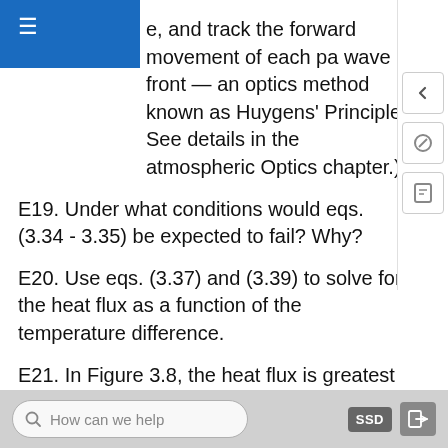e, and track the forward movement of each part of the wave front — an optics method known as Huygens' Principle. See details in the atmospheric Optics chapter.)
E19. Under what conditions would eqs. (3.34 - 3.35) be expected to fail? Why?
E20. Use eqs. (3.37) and (3.39) to solve for the heat flux as a function of the temperature difference.
E21. In Figure 3.8, the heat flux is greatest at the height where there is no change in the vertical temperature profile from before to after a storm. Why should that be the case?
E22. How fast does air temperature change if only if the...